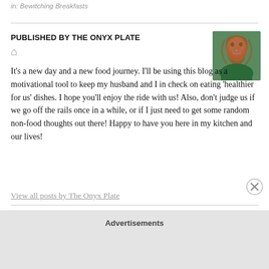in: Bewitching Breakfasts
PUBLISHED BY THE ONYX PLATE
[Figure (photo): Portrait photo of a woman with long red hair, smiling, wearing a green top]
It's a new day and a new food journey. I'll be using this blog as a motivational tool to keep my husband and I in check on eating 'healthier for us' dishes. I hope you'll enjoy the ride with us! Also, don't judge us if we go off the rails once in a while, or if I just need to get some random non-food thoughts out there! Happy to have you here in my kitchen and our lives!
View all posts by The Onyx Plate
Advertisements